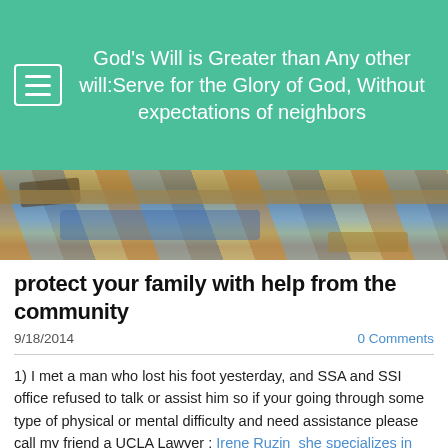God's Will is Greater than Any other will:Serve for the Glory of God, Without expectations of neighbors
[Figure (photo): A blurry close-up photo of stacked items including what appear to be bags or packages with colorful patterns.]
protect your family with help from the community
9/18/2014
0 Comments
1) I met a man who lost his foot yesterday, and SSA and SSI office refused to talk or assist him so if your going through some type of physical or mental difficulty and need assistance please call my friend a UCLA Lawyer : Irene Ruzin  she specializes in social disability cases.
Her website is at www.socialdisablitylawyer.net or call her at 1888 700